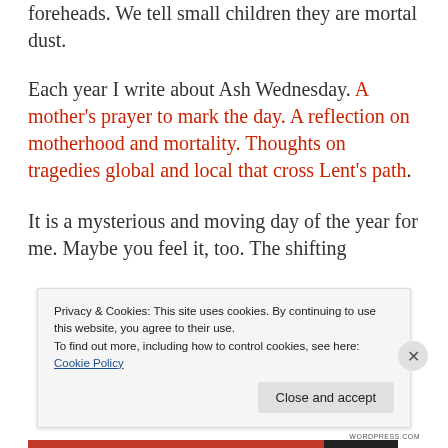foreheads. We tell small children they are mortal dust.
Each year I write about Ash Wednesday. A mother's prayer to mark the day. A reflection on motherhood and mortality. Thoughts on tragedies global and local that cross Lent's path.
It is a mysterious and moving day of the year for me. Maybe you feel it, too. The shifting
Privacy & Cookies: This site uses cookies. By continuing to use this website, you agree to their use.
To find out more, including how to control cookies, see here: Cookie Policy
Close and accept